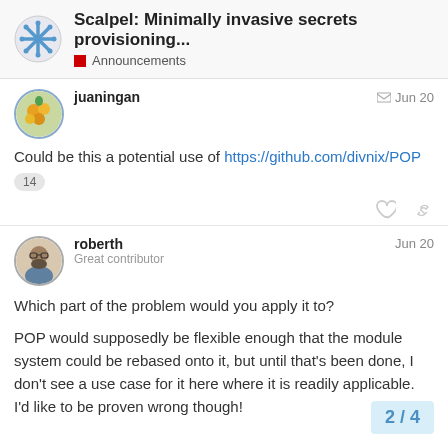Scalpel: Minimally invasive secrets provisioning... | Announcements
juaningan Jun 20
Could be this a potential use of https://github.com/divnix/POP
14
roberth Jun 20
Great contributor
Which part of the problem would you apply it to?
POP would supposedly be flexible enough that the module system could be rebased onto it, but until that's been done, I don't see a use case for it here where it is readily applicable. I'd like to be proven wrong though!
2 / 4